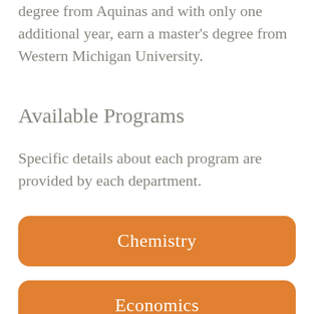degree from Aquinas and with only one additional year, earn a master's degree from Western Michigan University.
Available Programs
Specific details about each program are provided by each department.
Chemistry
Economics